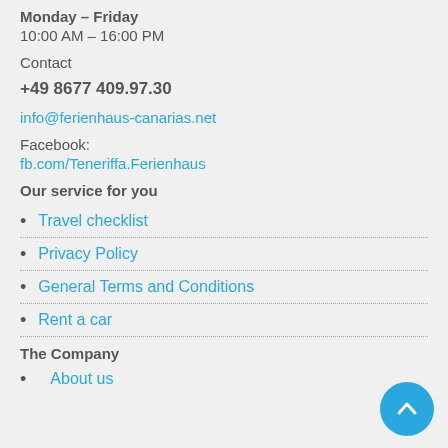Monday – Friday
10:00 AM – 16:00 PM
Contact
+49 8677 409.97.30
info@ferienhaus-canarias.net
Facebook:
fb.com/Teneriffa.Ferienhaus
Our service for you
Travel checklist
Privacy Policy
General Terms and Conditions
Rent a car
The Company
About us